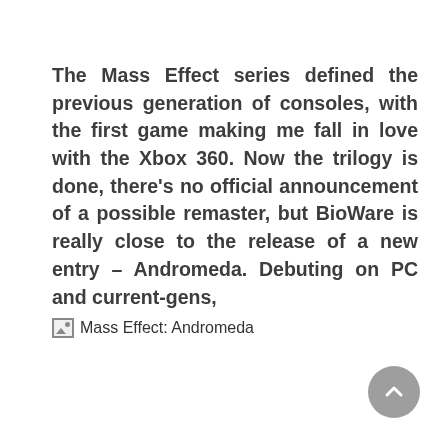The Mass Effect series defined the previous generation of consoles, with the first game making me fall in love with the Xbox 360. Now the trilogy is done, there's no official announcement of a possible remaster, but BioWare is really close to the release of a new entry – Andromeda. Debuting on PC and current-gens,
[Figure (other): Broken image placeholder with alt text 'Mass Effect: Andromeda']